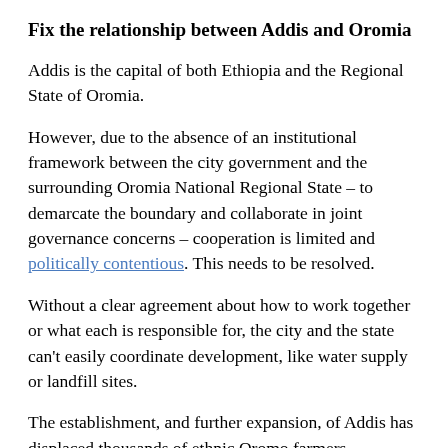Fix the relationship between Addis and Oromia
Addis is the capital of both Ethiopia and the Regional State of Oromia.
However, due to the absence of an institutional framework between the city government and the surrounding Oromia National Regional State – to demarcate the boundary and collaborate in joint governance concerns – cooperation is limited and politically contentious. This needs to be resolved.
Without a clear agreement about how to work together or what each is responsible for, the city and the state can't easily coordinate development, like water supply or landfill sites.
The establishment, and further expansion, of Addis has displaced thousands of ethnic Oromo farmers